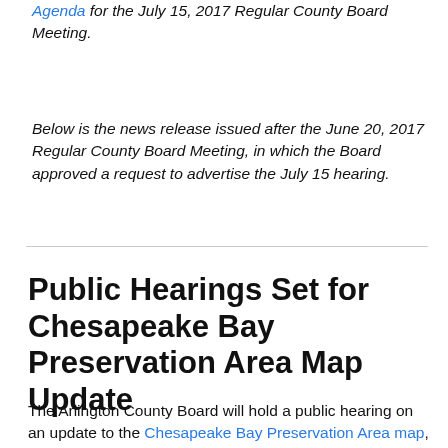Agenda for the July 15, 2017 Regular County Board Meeting.
Below is the news release issued after the June 20, 2017 Regular County Board Meeting, in which the Board approved a request to advertise the July 15 hearing.
Public Hearings Set for Chesapeake Bay Preservation Area Map Update
The Arlington County Board will hold a public hearing on an update to the Chesapeake Bay Preservation Area map,